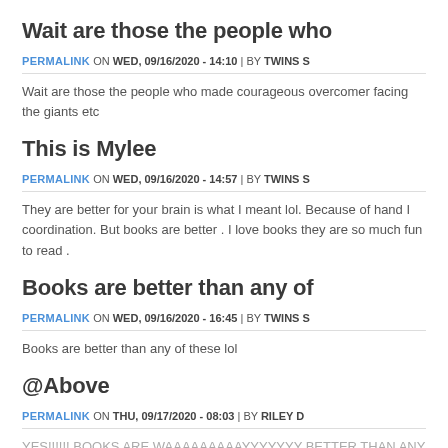Wait are those the people who
PERMALINK ON WED, 09/16/2020 - 14:10 | BY TWINS S
Wait are those the people who made courageous overcomer facing the giants etc
This is Mylee
PERMALINK ON WED, 09/16/2020 - 14:57 | BY TWINS S
They are better for your brain is what I meant lol. Because of hand I coordination. But books are better . I love books they are so much fun to read .
Books are better than any of
PERMALINK ON WED, 09/16/2020 - 16:45 | BY TWINS S
Books are better than any of these lol
@Above
PERMALINK ON THU, 09/17/2020 - 08:03 | BY RILEY D
YES!!!!!! BOOKS ARE WAAAAAAAAAYYYYYYY BETTER THAN ANY OF